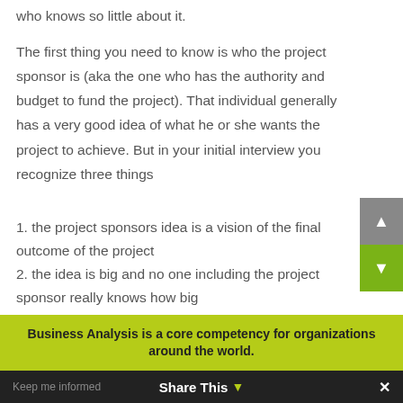who knows so little about it.
The first thing you need to know is who the project sponsor is (aka the one who has the authority and budget to fund the project). That individual generally has a very good idea of what he or she wants the project to achieve. But in your initial interview you recognize three things
1. the project sponsors idea is a vision of the final outcome of the project
2. the idea is big and no one including the project sponsor really knows how big
Business Analysis is a core competency for organizations around the world.
My email address
Keep me informed   Share This ▼   ✕